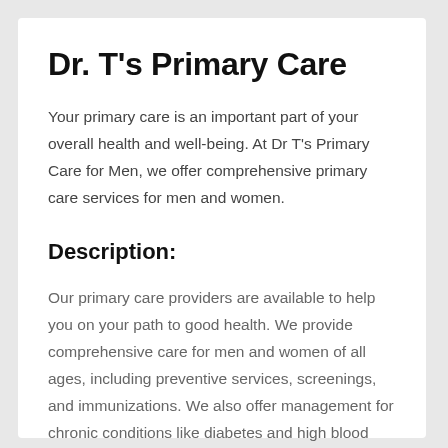Dr. T's Primary Care
Your primary care is an important part of your overall health and well-being. At Dr T's Primary Care for Men, we offer comprehensive primary care services for men and women.
Description:
Our primary care providers are available to help you on your path to good health. We provide comprehensive care for men and women of all ages, including preventive services, screenings, and immunizations. We also offer management for chronic conditions like diabetes and high blood pressure. And if you ever need specialty care, we can refer you to a trusted specialist